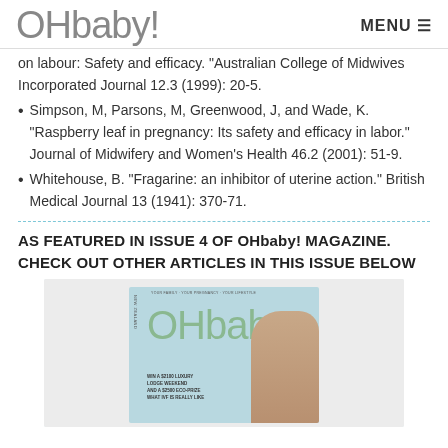OHbaby! MENU
on labour: Safety and efficacy. "Australian College of Midwives Incorporated Journal 12.3 (1999): 20-5.
Simpson, M, Parsons, M, Greenwood, J, and Wade, K. "Raspberry leaf in pregnancy: Its safety and efficacy in labor." Journal of Midwifery and Women's Health 46.2 (2001): 51-9.
Whitehouse, B. "Fragarine: an inhibitor of uterine action." British Medical Journal 13 (1941): 370-71.
AS FEATURED IN ISSUE 4 OF OHbaby! MAGAZINE. CHECK OUT OTHER ARTICLES IN THIS ISSUE BELOW
[Figure (photo): Magazine cover of OHbaby! Issue 4 showing the OHbaby! logo in green on a light blue/teal background, with text about winning prizes and a baby's face visible on the right side.]